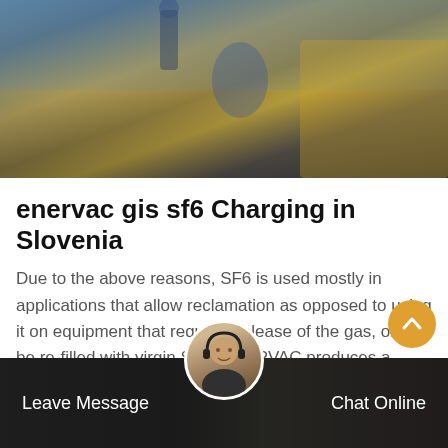[Figure (photo): Workers on industrial equipment/vehicle, outdoor construction or utility setting]
enervac gis sf6 Charging in Slovenia
Due to the above reasons, SF6 is used mostly in applications that allow reclamation as opposed to using it on equipment that requires release of the gas, only to be re-filled with virgin SF6. ENERVAC produces a complete line of SF6 recovery and test equipment, from full sized gas reclaimers down to small decomposition detectors.
Get Price
[Figure (photo): Bottom bar with customer service representative avatar, Leave Message and Chat Online buttons]
Leave Message
Chat Online